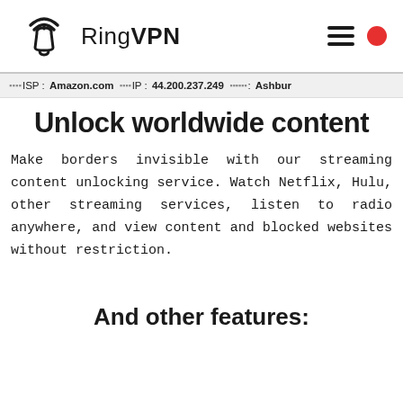RingVPN
ISP: Amazon.com   IP: 44.200.237.249   Location: Ashbur
Unlock worldwide content
Make borders invisible with our streaming content unlocking service. Watch Netflix, Hulu, other streaming services, listen to radio anywhere, and view content and blocked websites without restriction.
And other features: